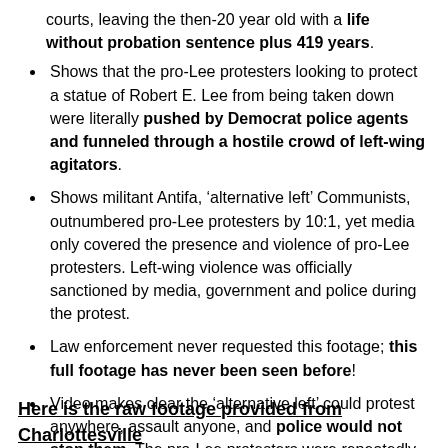courts, leaving the then-20 year old with a life without probation sentence plus 419 years.
Shows that the pro-Lee protesters looking to protect a statue of Robert E. Lee from being taken down were literally pushed by Democrat police agents and funneled through a hostile crowd of left-wing agitators.
Shows militant Antifa, ‘alternative left’ Communists, outnumbered pro-Lee protesters by 10:1, yet media only covered the presence and violence of pro-Lee protesters. Left-wing violence was officially sanctioned by media, government and police during the protest.
Law enforcement never requested this footage; this full footage has never been seen before!
Video makes clear the ‘alternative left’ could protest anywhere, assault anyone, and police would not stop them. The pro-Lee protesters were repeatedly shut down by police and had to fight for months in federal court to even get a protest permit.
Here is the raw footage provided from Charlottesville